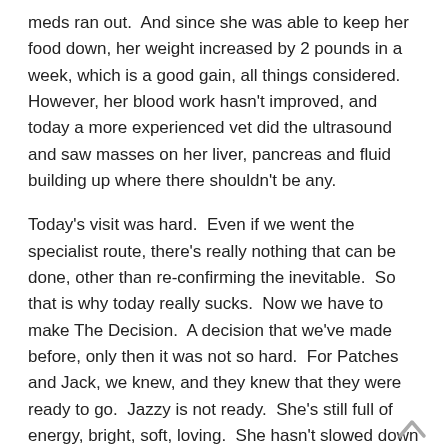meds ran out.  And since she was able to keep her food down, her weight increased by 2 pounds in a week, which is a good gain, all things considered.  However, her blood work hasn't improved, and today a more experienced vet did the ultrasound and saw masses on her liver, pancreas and fluid building up where there shouldn't be any.
Today's visit was hard.  Even if we went the specialist route, there's really nothing that can be done, other than re-confirming the inevitable.  So that is why today really sucks.  Now we have to make The Decision.  A decision that we've made before, only then it was not so hard.  For Patches and Jack, we knew, and they knew that they were ready to go.  Jazzy is not ready.  She's still full of energy, bright, soft, loving.  She hasn't slowed down a bit, even though she's got a timebomb inside her.  The Vet says that when she crashes, it'll be fast, and sudden.
So there's the choice to make.  Do we end her life now, while she's still vibrant, aware, not hurting, or do we wait, hoping that when the time comes it's not on a weekend when the vet's closed, or worse, that it doesn't happen while we're gone somewhere, coming home to find